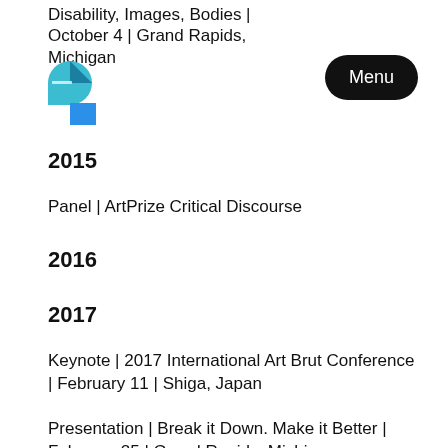Disability, Images, Bodies | October 4 | Grand Rapids, Michigan
[Figure (logo): Two overlapping geometric shapes logo in teal and blue]
[Figure (other): Menu button, black pill-shaped button with white text 'Menu']
2015
Panel | ArtPrize Critical Discourse
2016
2017
Keynote | 2017 International Art Brut Conference | February 11 | Shiga, Japan
Presentation | Break it Down. Make it Better | February 25 | Grand Rapids, Michigan